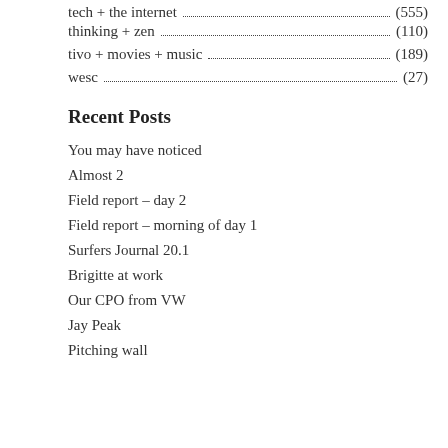tech + the internet (555)
thinking + zen (110)
tivo + movies + music (189)
wesc (27)
Recent Posts
You may have noticed
Almost 2
Field report – day 2
Field report – morning of day 1
Surfers Journal 20.1
Brigitte at work
Our CPO from VW
Jay Peak
Pitching wall